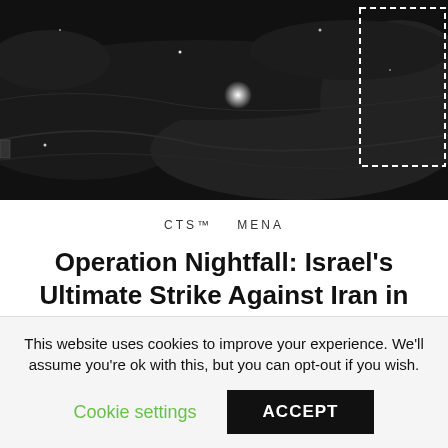[Figure (photo): Satellite or aerial night-vision image, predominantly dark/black with small bright spots (stars or lights) and a dashed rectangle outline in the top-right corner.]
CTS™   MENA
Operation Nightfall: Israel's Ultimate Strike Against Iran in Syria
HARM
JULY 15, 2018 3:25 PM
COMMENTS OFF
This website uses cookies to improve your experience. We'll assume you're ok with this, but you can opt-out if you wish.
Cookie settings   ACCEPT